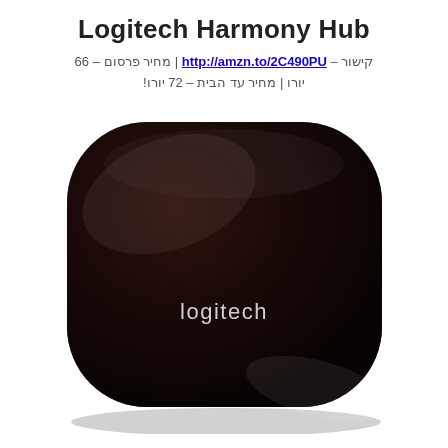Logitech Harmony Hub
קישור – http://amzn.to/2C490PU | מחיר פרסום – 66 יורו | מחיר עד הבית – 72 יורו!
[Figure (photo): Photo of the Logitech Harmony Hub device — a glossy black rounded square smart home hub with the Logitech logo on the front]